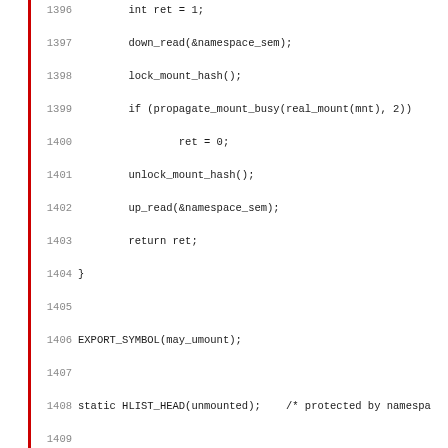Source code listing, lines 1396–1427, showing C functions including may_umount, namespace_unlock, and namespace_lock